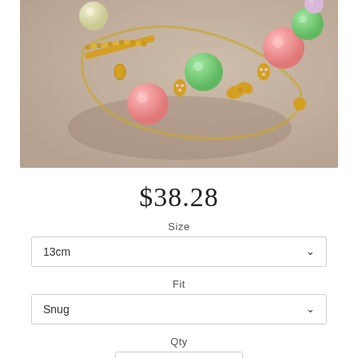[Figure (photo): A beaded bracelet with pink and green gemstone beads, gold spacer beads, and a small butterfly charm, photographed on a light beige fabric background with soft shadows.]
$38.28
Size
13cm
Fit
Snug
Qty
1